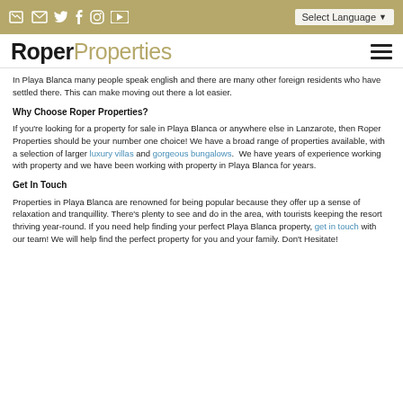[icons: phone, email, twitter, facebook, instagram, youtube] Select Language
RoperProperties
In Playa Blanca many people speak english and there are many other foreign residents who have settled there. This can make moving out there a lot easier.
Why Choose Roper Properties?
If you're looking for a property for sale in Playa Blanca or anywhere else in Lanzarote, then Roper Properties should be your number one choice! We have a broad range of properties available, with a selection of larger luxury villas and gorgeous bungalows.  We have years of experience working with property and we have been working with property in Playa Blanca for years.
Get In Touch
Properties in Playa Blanca are renowned for being popular because they offer up a sense of relaxation and tranquillity. There's plenty to see and do in the area, with tourists keeping the resort thriving year-round. If you need help finding your perfect Playa Blanca property, get in touch with our team! We will help find the perfect property for you and your family. Don't Hesitate!